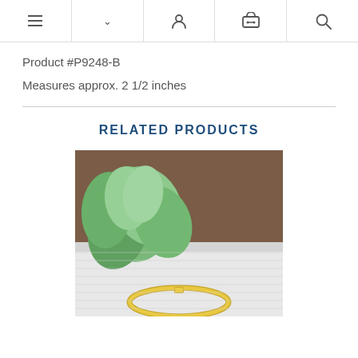Navigation bar with menu, dropdown, user, cart, and search icons
Product #P9248-B
Measures approx. 2 1/2 inches
RELATED PRODUCTS
[Figure (photo): Photo of a gold bangle bracelet on a white surface with a green succulent plant and dark brown leather background]